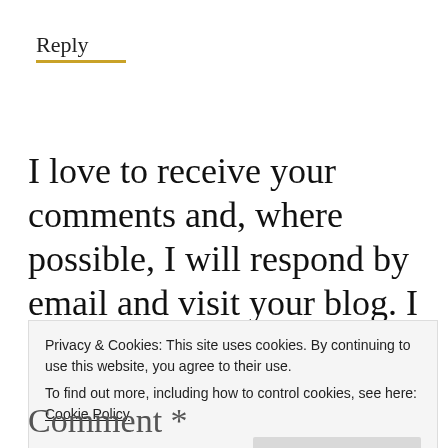Reply
I love to receive your comments and, where possible, I will respond by email and visit your blog. I will manually approve your first comment on this site to help avoid
Privacy & Cookies: This site uses cookies. By continuing to use this website, you agree to their use.
To find out more, including how to control cookies, see here: Cookie Policy
Close and accept
Comment *